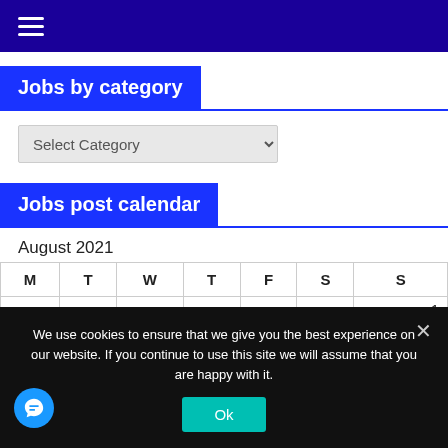Navigation menu (hamburger icon)
Jobs by category
[Figure (screenshot): Dropdown selector labeled 'Select Category']
Jobs post calendar
August 2021
| M | T | W | T | F | S | S |
| --- | --- | --- | --- | --- | --- | --- |
|  |  |  |  |  |  | 1 |
|  |  |  |  |  |  |  |
We use cookies to ensure that we give you the best experience on our website. If you continue to use this site we will assume that you are happy with it.